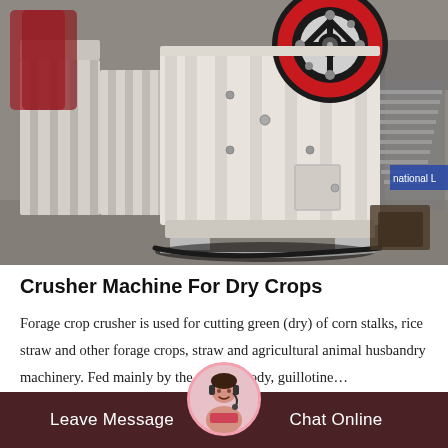[Figure (photo): Industrial jaw crusher machines in a factory warehouse. Large white heavy-duty jaw crushers with a prominent red and black flywheel on top are lined up in a row. Factory interior background with metal structures and signage visible.]
Crusher Machine For Dry Crops
Forage crop crusher is used for cutting green (dry) of corn stalks, rice straw and other forage crops, straw and agricultural animal husbandry machinery. Fed mainly by the general body, guillotine…
Leave Message   Chat Online